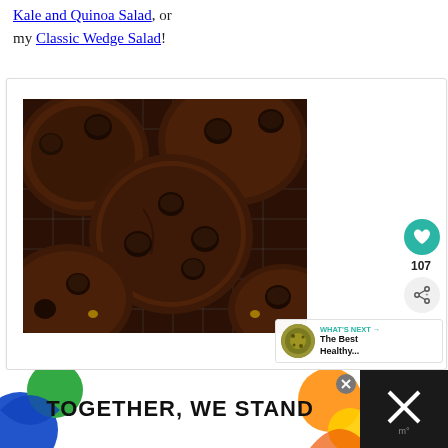my Kale and Quinoa Salad, or my Classic Wedge Salad!
[Figure (photo): Close-up overhead photo of multiple dark chocolate double chocolate chip cookies cooling on a wire rack, showing large chocolate chips on top of rich fudgy dark cookie bases]
107
WHAT'S NEXT → The Best Healthy...
[Figure (infographic): Advertisement banner reading TOGETHER, WE STAND with colorful abstract shapes on dark background]